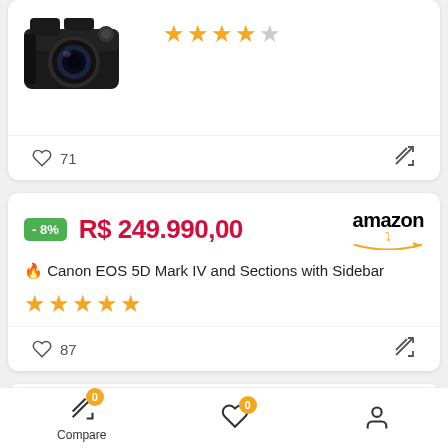[Figure (photo): Partial product card showing a Canon DSLR camera image with 4-star rating (4 filled, 1 empty stars)]
71
- 8%   R$ 249.990,00
[Figure (logo): Amazon logo with orange arrow]
🔥 Canon EOS 5D Mark IV and Sections with Sidebar
★★★★★
87
R$ 5.000,00
[Figure (logo): Canon Global logo]
Compare
0
0